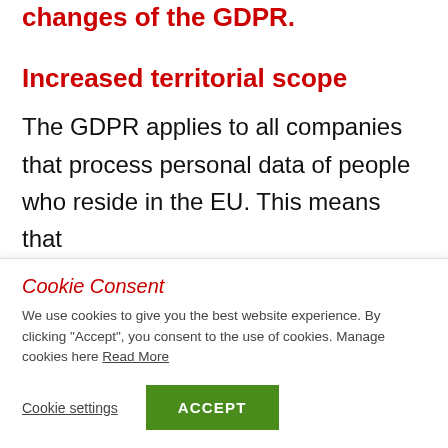changes of the GDPR.
Increased territorial scope
The GDPR applies to all companies that process personal data of people who reside in the EU. This means that
Cookie Consent
We use cookies to give you the best website experience. By clicking "Accept", you consent to the use of cookies. Manage cookies here Read More
Cookie settings
ACCEPT